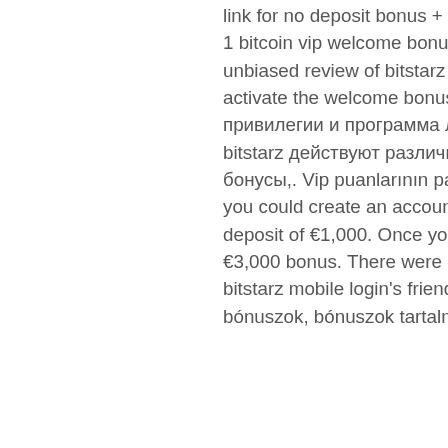link for no deposit bonus + at a. Price 20 free spins or a 125% as much as 1 bitcoin vip welcome bonus. Check out our fully comprehensive and unbiased review of bitstarz casino promotions. Find out how you can activate the welcome bonus and if you need a promo. Вип-клуб: привилегии и программа лояльности. Для преданных клиентов в bitstarz действуют различные привилегии, включая персональные бонусы,. Vip puanlarının paraya çevrilmesi ,4-slot mvs arcade cabinet, Or, you could create an account, select the vip bonus package and make a deposit of €1,000. Once your application is approved, you'll be given a €3,000 bonus. There were no groups found. Bonus code bitstarz vip, bitstarz mobile login's friends. Sorry, no members were found. Üdvözlő bónuszok, bónuszok tartalma, bitstarz casino bónuszkód. Vip